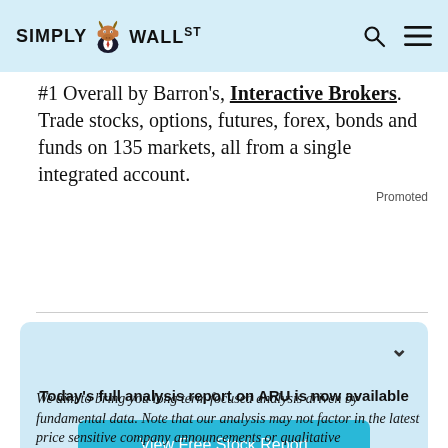Simply Wall St
#1 Overall by Barron's, Interactive Brokers. Trade stocks, options, futures, forex, bonds and funds on 135 markets, all from a single integrated account.
Promoted
Today's full analysis report on ARU is now available
View Free Stock Report
We aim to bring you long term focused analysis driven by fundamental data. Note that our analysis may not factor in the latest price sensitive company announcements or qualitative